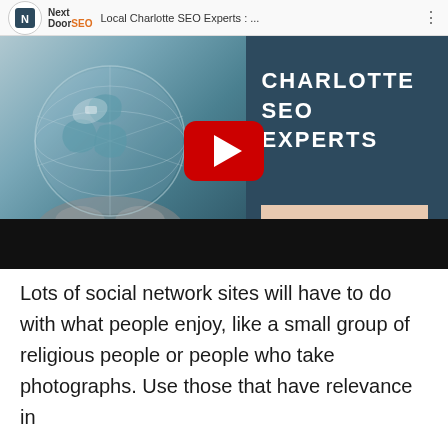[Figure (screenshot): YouTube video thumbnail screenshot showing 'Local Charlotte SEO Experts : ...' with NextDoorSEO branding. Left half shows hands holding a glass globe (world map), right half shows dark blue background with text 'CHARLOTTE SEO EXPERTS' and 'NEXTDOORSEO.COM'. A YouTube play button is centered over the thumbnail. A black bar appears at the bottom of the video player area.]
Lots of social network sites will have to do with what people enjoy, like a small group of religious people or people who take photographs. Use those that have relevance in